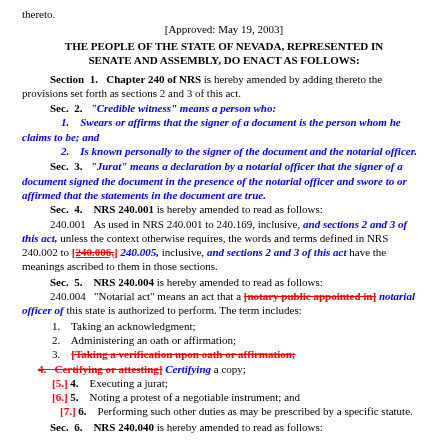thereto.
[Approved: May 19, 2003]
THE PEOPLE OF THE STATE OF NEVADA, REPRESENTED IN SENATE AND ASSEMBLY, DO ENACT AS FOLLOWS:
Section 1. Chapter 240 of NRS is hereby amended by adding thereto the provisions set forth as sections 2 and 3 of this act.
Sec. 2. "Credible witness" means a person who:
1. Swears or affirms that the signer of a document is the person whom he claims to be; and
2. Is known personally to the signer of the document and the notarial officer.
Sec. 3. "Jurat" means a declaration by a notarial officer that the signer of a document signed the document in the presence of the notarial officer and swore to or affirmed that the statements in the document are true.
Sec. 4. NRS 240.001 is hereby amended to read as follows:
240.001 As used in NRS 240.001 to 240.169, inclusive, and sections 2 and 3 of this act, unless the context otherwise requires, the words and terms defined in NRS 240.002 to [240.006,] 240.005, inclusive, and sections 2 and 3 of this act have the meanings ascribed to them in those sections.
Sec. 5. NRS 240.004 is hereby amended to read as follows:
240.004 "Notarial act" means an act that a [notary public appointed in] notarial officer of this state is authorized to perform. The term includes:
1. Taking an acknowledgment;
2. Administering an oath or affirmation;
3. [Taking a verification upon oath or affirmation;
4. [Certifying or attesting] Certifying a copy;
[5.] 4. Executing a jurat;
[6.] 5. Noting a protest of a negotiable instrument; and
[7.] 6. Performing such other duties as may be prescribed by a specific statute.
Sec. 6. NRS 240.040 is hereby amended to read as follows: